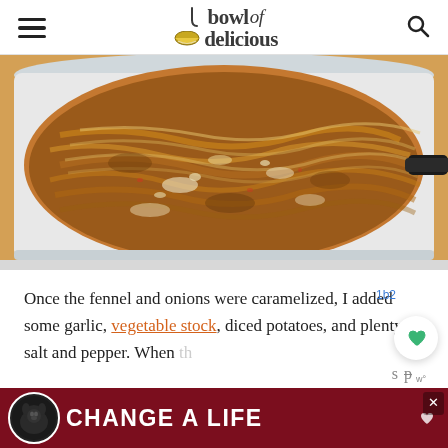bowl of delicious
[Figure (photo): Caramelized fennel and onions with garlic in a white enameled cast iron Dutch oven on a gas stove]
Once the fennel and onions were caramelized, I added some garlic, vegetable stock, diced potatoes, and plenty of salt and pepper. When th... s p it...
[Figure (other): Advertisement banner: CHANGE A LIFE with a black labrador dog photo on dark red background]